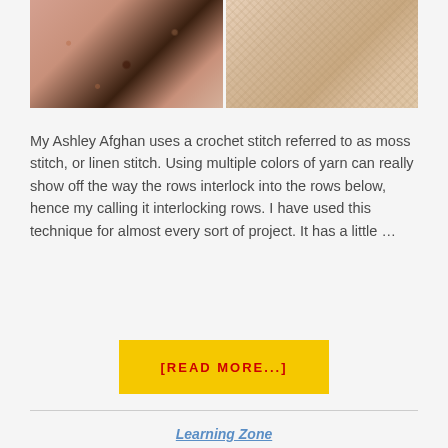[Figure (photo): Two side-by-side photos of crochet/knit textile work. Left photo shows darker toned yarn with interlocking pattern. Right photo shows lighter beige/cream yarn with moss stitch texture.]
My Ashley Afghan uses a crochet stitch referred to as moss stitch, or linen stitch. Using multiple colors of yarn can really show off the way the rows interlock into the rows below, hence my calling it interlocking rows. I have used this technique for almost every sort of project. It has a little …
[READ MORE...]
Learning Zone